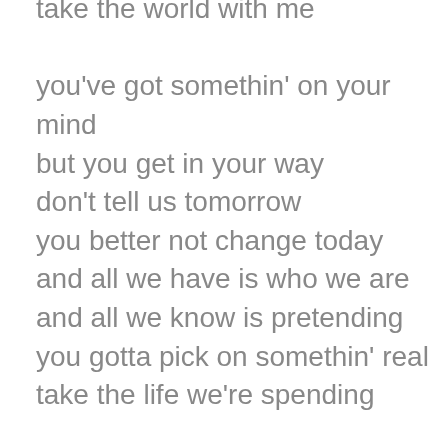take the world with me
you've got somethin' on your mind
but you get in your way
don't tell us tomorrow
you better not change today
and all we have is who we are
and all we know is pretending
you gotta pick on somethin' real
take the life we're spending
why do they lie?
why can't you see?
get up, everybody